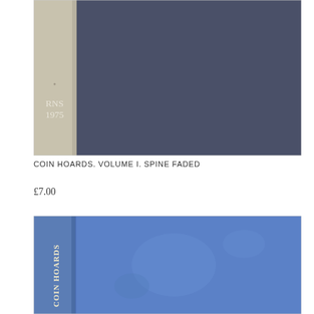[Figure (photo): Photograph of a dark navy blue hardcover book, showing the spine (beige/cream colored with text 'RNS 1975') on the left and the dark blue-grey front cover on the right. The spine is slightly lighter than the main cover.]
COIN HOARDS. VOLUME I. SPINE FADED
£7.00
[Figure (photo): Photograph of a blue hardcover book, showing the spine (with partial text 'COIN HOARDS' visible in gold lettering) on the left and the blue front cover on the right. The cover shows some wear with faint marks visible.]